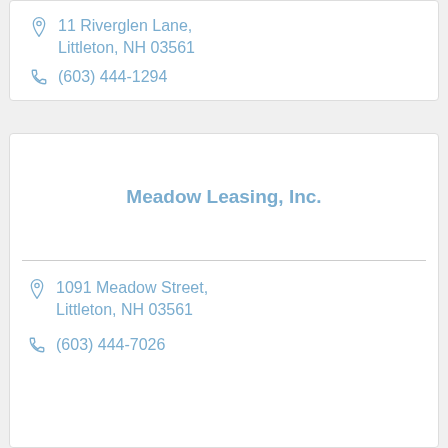11 Riverglen Lane, Littleton, NH 03561
(603) 444-1294
Meadow Leasing, Inc.
1091 Meadow Street, Littleton, NH 03561
(603) 444-7026